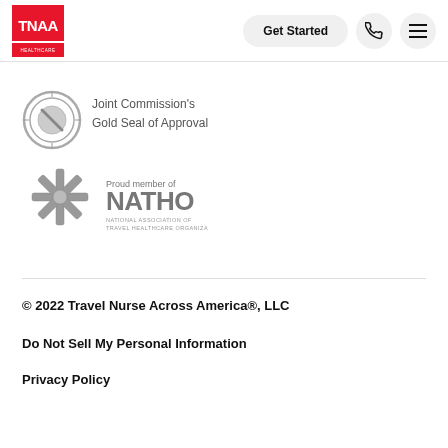[Figure (logo): TNAA Healthcare logo - red square with white TNAA text and HEALTHCARE below]
Get Started
[Figure (logo): Joint Commission's Gold Seal of Approval - silver circular seal]
Joint Commission's Gold Seal of Approval
[Figure (logo): NATHO - National Association of Travel Healthcare Organizations logo]
© 2022 Travel Nurse Across America®, LLC
Do Not Sell My Personal Information
Privacy Policy